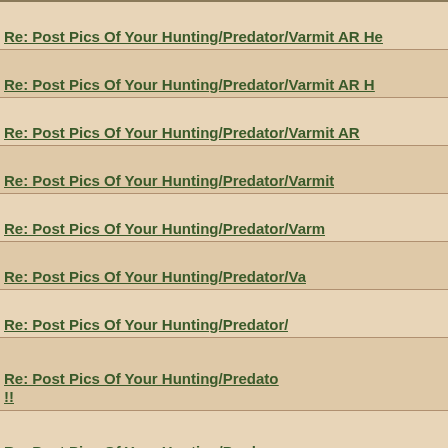Re: Post Pics Of Your Hunting/Predator/Varmit AR He
Re: Post Pics Of Your Hunting/Predator/Varmit AR H
Re: Post Pics Of Your Hunting/Predator/Varmit AR
Re: Post Pics Of Your Hunting/Predator/Varmit
Re: Post Pics Of Your Hunting/Predator/Varm
Re: Post Pics Of Your Hunting/Predator/Va
Re: Post Pics Of Your Hunting/Predator/
Re: Post Pics Of Your Hunting/Predato !!
Re: Post Pics Of Your Hunting/Preda Here !!
Re: Post Pics Of Your Hunting/Pre Here !!
Re: Post Pics Of Your Hunting/P Here !!
Re: Post Pics Of Your Hunting AR Here !!
Re: Post Pics Of Your Hunting/Predator/Varmit AR Here !
Re: Post Pics Of Your Hunting/Predator/Varmit AR H